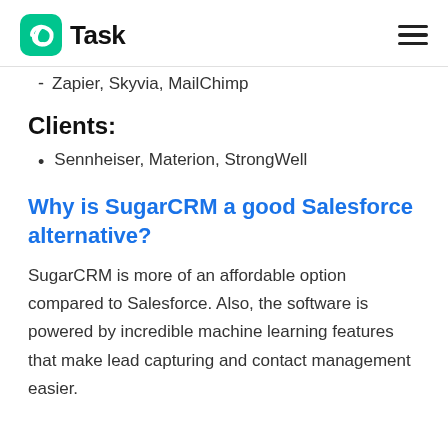nTask
Zapier, Skyvia, MailChimp
Clients:
Sennheiser, Materion, StrongWell
Why is SugarCRM a good Salesforce alternative?
SugarCRM is more of an affordable option compared to Salesforce. Also, the software is powered by incredible machine learning features that make lead capturing and contact management easier.